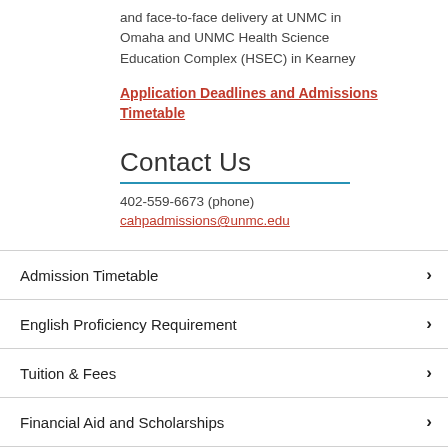and face-to-face delivery at UNMC in Omaha and UNMC Health Science Education Complex (HSEC) in Kearney
Application Deadlines and Admissions Timetable
Contact Us
402-559-6673 (phone)
cahpadmissions@unmc.edu
Admission Timetable
English Proficiency Requirement
Tuition & Fees
Financial Aid and Scholarships
How to Apply